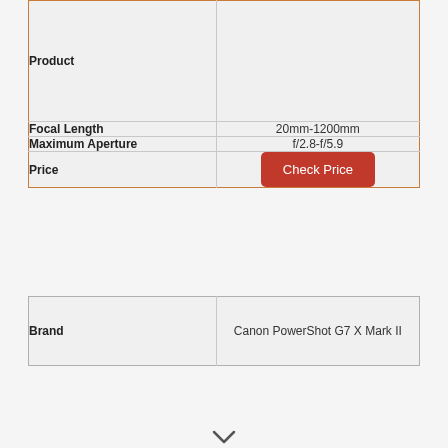| Product |  |
| --- | --- |
| Product |  |
| Focal Length | 20mm-1200mm |
| Maximum Aperture | f/2.8-f/5.9 |
| Price | Check Price |
| Brand | Canon PowerShot G7 X Mark II |
| --- | --- |
| Brand | Canon PowerShot G7 X Mark II |